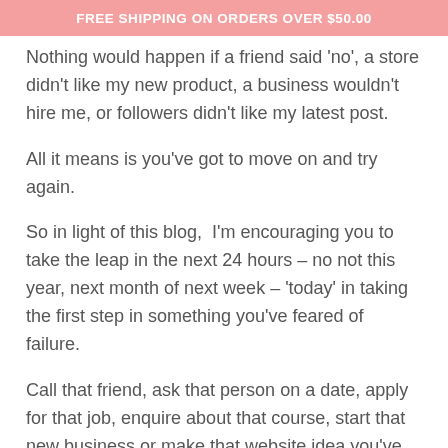FREE SHIPPING ON ORDERS OVER $50.00
Nothing would happen if a friend said 'no', a store didn't like my new product, a business wouldn't hire me, or followers didn't like my latest post.
All it means is you've got to move on and try again.
So in light of this blog, I'm encouraging you to take the leap in the next 24 hours – no not this year, next month of next week – 'today' in taking the first step in something you've feared of failure.
Call that friend, ask that person on a date, apply for that job, enquire about that course, start that new business or make that website idea you've been thinking about for years.
Remember this, Walt Disney failed 302 times before being approved to fund Disneyland, and JK Rowling was